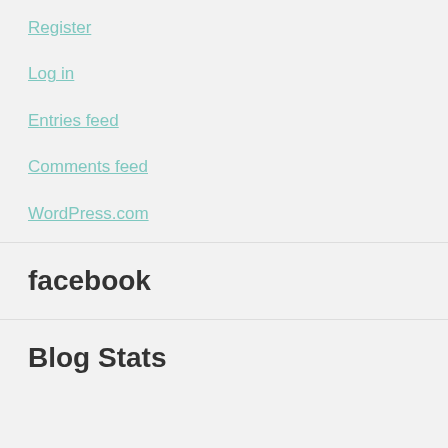Register
Log in
Entries feed
Comments feed
WordPress.com
facebook
Blog Stats